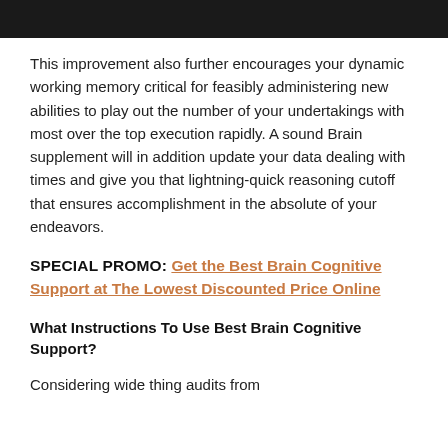This improvement also further encourages your dynamic working memory critical for feasibly administering new abilities to play out the number of your undertakings with most over the top execution rapidly. A sound Brain supplement will in addition update your data dealing with times and give you that lightning-quick reasoning cutoff that ensures accomplishment in the absolute of your endeavors.
SPECIAL PROMO: Get the Best Brain Cognitive Support at The Lowest Discounted Price Online
What Instructions To Use Best Brain Cognitive Support?
Considering wide thing audits from